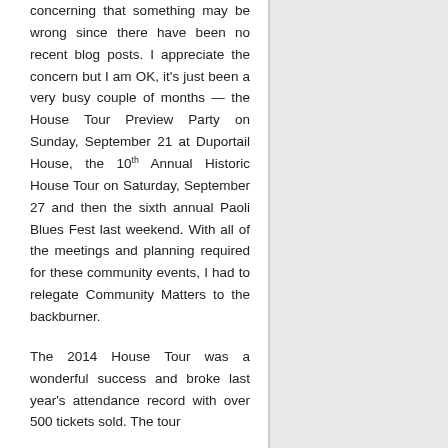concerning that something may be wrong since there have been no recent blog posts. I appreciate the concern but I am OK, it's just been a very busy couple of months — the House Tour Preview Party on Sunday, September 21 at Duportail House, the 10th Annual Historic House Tour on Saturday, September 27 and then the sixth annual Paoli Blues Fest last weekend. With all of the meetings and planning required for these community events, I had to relegate Community Matters to the backburner.
The 2014 House Tour was a wonderful success and broke last year's attendance record with over 500 tickets sold. The tour